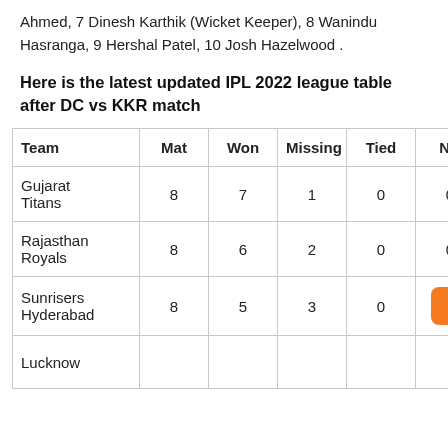Ahmed, 7 Dinesh Karthik (Wicket Keeper), 8 Wanindu Hasranga, 9 Hershal Patel, 10 Josh Hazelwood .
Here is the latest updated IPL 2022 league table after DC vs KKR match
| Team | Mat | Won | Missing | Tied | NR | Po |
| --- | --- | --- | --- | --- | --- | --- |
| Gujarat Titans | 8 | 7 | 1 | 0 | 0 | 14 |
| Rajasthan Royals | 8 | 6 | 2 | 0 | 0 | 12 |
| Sunrisers Hyderabad | 8 | 5 | 3 | 0 | [up arrow] | 10 |
| Lucknow |  |  |  |  |  |  |